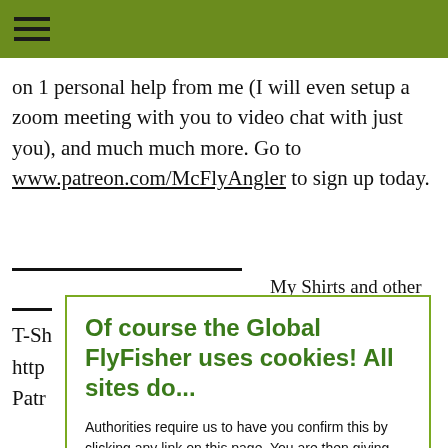≡ (navigation hamburger menu)
on 1 personal help from me (I will even setup a zoom meeting with you to video chat with just you), and much much more. Go to www.patreon.com/McFlyAngler to sign up today.
My Shirts and other Merchandise!
T-Sh... http... Patr...
Face... Inst...
Ori... Sub...
[Figure (screenshot): Cookie consent modal dialog overlaying the page content. Title: 'Of course the Global FlyFisher uses cookies! All sites do...' Body text: 'Authorities require us to have you confirm this by clicking any link on this page. You are then giving your consent for us to set cookies. No cookies, no GFF!' Buttons: 'More about privacy and cookies' and 'OK, I agree']